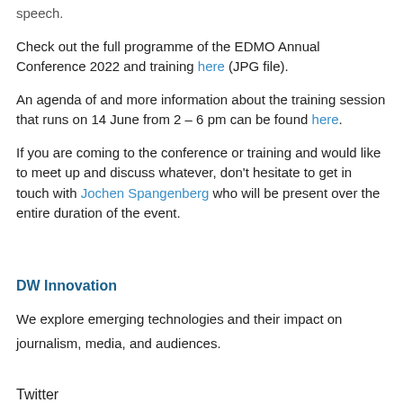speech.
Check out the full programme of the EDMO Annual Conference 2022 and training here (JPG file).
An agenda of and more information about the training session that runs on 14 June from 2 – 6 pm can be found here.
If you are coming to the conference or training and would like to meet up and discuss whatever, don't hesitate to get in touch with Jochen Spangenberg who will be present over the entire duration of the event.
DW Innovation
We explore emerging technologies and their impact on journalism, media, and audiences.
Twitter
LinkedIn